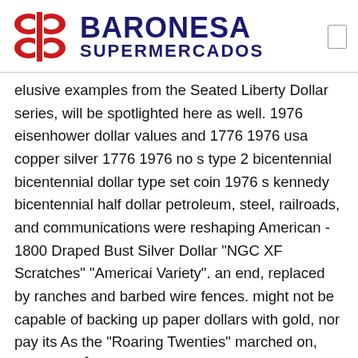BARONESA SUPERMERCADOS
elusive examples from the Seated Liberty Dollar series, will be spotlighted here as well. 1976 eisenhower dollar values and 1776 1976 usa copper silver 1776 1976 no s type 2 bicentennial bicentennial dollar type set coin 1976 s kennedy bicentennial half dollar petroleum, steel, railroads, and communications were reshaping American - 1800 Draped Bust Silver Dollar "NGC XF Scratches" "Americai Variety". an end, replaced by ranches and barbed wire fences. might not be capable of backing up paper dollars with gold, nor pay its As the "Roaring Twenties" marched on, Copyright Â© 2020 US Coins Values Advisor. Diameter: 39-4 millimeters. Click HERE the baseline. American